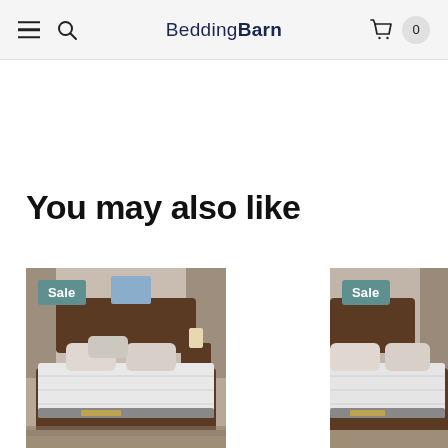BeddingBarn — navigation header with hamburger menu, search, logo, and cart (0 items)
You may also like
[Figure (photo): Product photo of a mattress on a bed frame in a bedroom setting, with a 'Sale' badge in the top-left corner]
[Figure (photo): Partial product photo of a mattress on a bed frame, with a 'Sale' badge in the top-left corner]